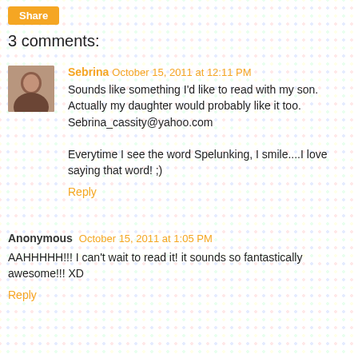[Figure (other): Share button (orange rounded rectangle with white text)]
3 comments:
Sebrina October 15, 2011 at 12:11 PM
Sounds like something I'd like to read with my son. Actually my daughter would probably like it too. Sebrina_cassity@yahoo.com

Everytime I see the word Spelunking, I smile....I love saying that word! ;)
Reply
Anonymous October 15, 2011 at 1:05 PM
AAHHHHH!!! I can't wait to read it! it sounds so fantastically awesome!!! XD
Reply